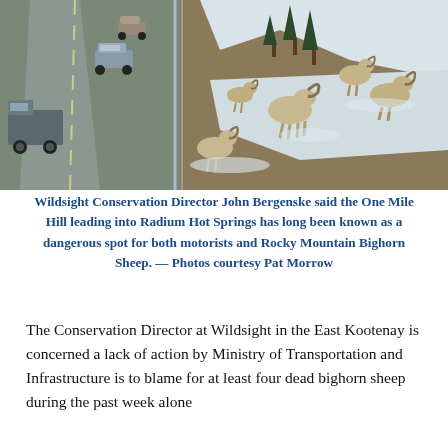[Figure (photo): Winter scene showing bighorn sheep on a snow-covered hillside adjacent to a highway with cars and trucks. Multiple bighorn sheep with large curved horns are visible on the rocky snowy slope on the right, while vehicles including a truck and cars travel on the road on the left.]
Wildsight Conservation Director John Bergenske said the One Mile Hill leading into Radium Hot Springs has long been known as a dangerous spot for both motorists and Rocky Mountain Bighorn Sheep. — Photos courtesy Pat Morrow
The Conservation Director at Wildsight in the East Kootenay is concerned a lack of action by Ministry of Transportation and Infrastructure is to blame for at least four dead bighorn sheep during the past week alone
John Bergenske at Wildsight said in an emailed statement that this is the latest in a spate of deaths decimating the Radium bighorn sheep herd that saw an additional 13 highway mortalities in 2021.